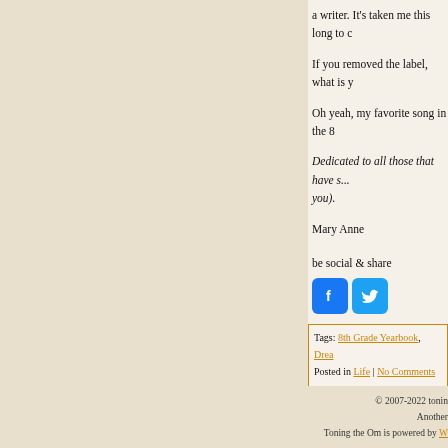a writer. It's taken me this long to c
If you removed the label, what is y
Oh yeah, my favorite song in the 8
Dedicated to all those that have s... you).
Mary Anne
be social & share
[Figure (illustration): Facebook and Twitter share buttons]
Tags: 8th Grade Yearbook, Drea...
Posted in Life | No Comments »
© 2007-2022 tonin...
Another...
Toning the Om is powered by W